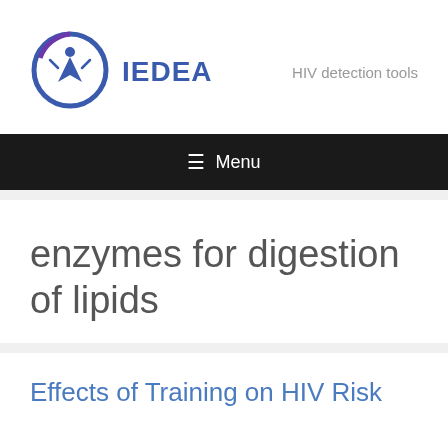[Figure (logo): IEDEA logo with circular emblem containing a stylized human figure, blue and purple tones, with text IEDEA in blue bold letters]
HIV detection tools
≡ Menu
enzymes for digestion of lipids
Effects of Training on HIV Risk